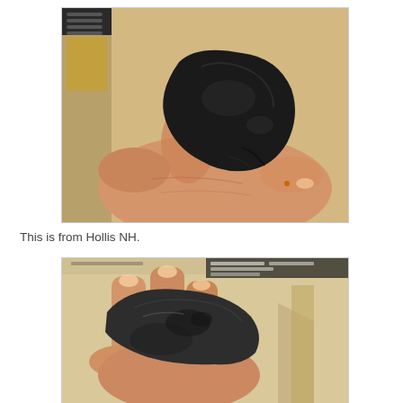[Figure (photo): A hand holding a small dark black/brown rock or meteorite fragment against a light wooden background, with a spiral notebook visible on the left side.]
This is from Hollis NH.
[Figure (photo): A hand holding a dark grayish-brown rock or meteorite fragment from below, showing its textured surface with regmaglypts, against a light background with shadows.]